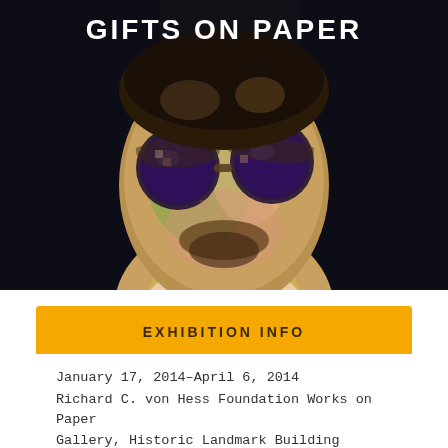[Figure (illustration): Hero image of a stylized painted face with large round sunglasses, painted in warm yellows, greens, and pinks on a dark background. The text 'GIFTS ON PAPER' appears in bold white capital letters at the top of the image.]
GIFTS ON PAPER
EXHIBITION INFO
January 17, 2014–April 6, 2014
Richard C. von Hess Foundation Works on Paper Gallery, Historic Landmark Building
Curated by